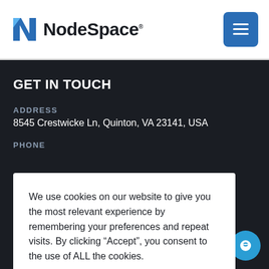NodeSpace
GET IN TOUCH
ADDRESS
8545 Crestwicke Ln, Quinton, VA 23141, USA
PHONE
We use cookies on our website to give you the most relevant experience by remembering your preferences and repeat visits. By clicking “Accept”, you consent to the use of ALL the cookies. Do not sell my personal information.
Cookie settings   ACCEPT
Dedicated Servers